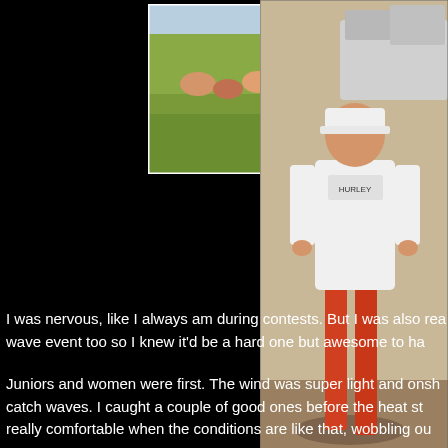[Figure (photo): Outdoor sports event on grass field with a tall blue arrow/wind indicator, spectators seated in background under sunny conditions]
[Figure (photo): Person in white jersey/shorts and white cap standing outdoors near a car with trunk open, sandy ground visible]
I was nervous, like I always am during contests. But I was also rea... wave event too so I knew it'd be a hard one but awesome to ha...
Juniors and women were first. The wind was super light and onsh... catch waves. I caught a couple of good ones before the heat st... really comfortable when the conditions are like that, wobbling ou...